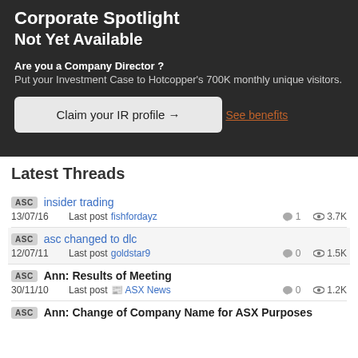Corporate Spotlight
Not Yet Available
Are you a Company Director ?
Put your Investment Case to Hotcopper's 700K monthly unique visitors.
Claim your IR profile →
See benefits
Latest Threads
ASC  insider trading
13/07/16  Last post  fishfordayz  1  3.7K
ASC  asc changed to dlc
12/07/11  Last post  goldstar9  0  1.5K
ASC  Ann: Results of Meeting
30/11/10  Last post  ASX News  0  1.2K
ASC  Ann: Change of Company Name for ASX Purposes